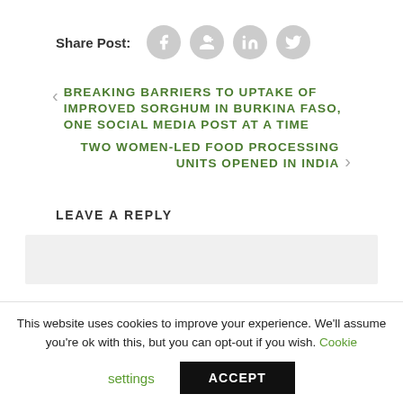Share Post:
BREAKING BARRIERS TO UPTAKE OF IMPROVED SORGHUM IN BURKINA FASO, ONE SOCIAL MEDIA POST AT A TIME
TWO WOMEN-LED FOOD PROCESSING UNITS OPENED IN INDIA
LEAVE A REPLY
This website uses cookies to improve your experience. We'll assume you're ok with this, but you can opt-out if you wish. Cookie settings ACCEPT